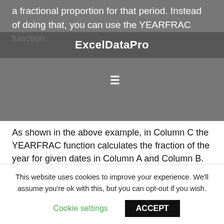a fractional proportion for that period. Instead of doing that, you can use the YEARFRAC function.
As shown in the above example, in Column C the YEARFRAC function calculates the fraction of the year for given dates in Column A and Column B.
In this function the Basis is optional. It is the type of day count basis that we instruct the
This website uses cookies to improve your experience. We'll assume you're ok with this, but you can opt-out if you wish.